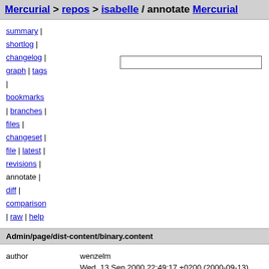Mercurial > repos > isabelle / annotate Mercurial
summary |
shortlog |
changelog |
graph | tags
|
bookmarks
| branches |
files |
changeset |
file | latest |
revisions |
annotate |
diff |
comparison
| raw | help
Admin/page/dist-content/binary.content
| field | value |
| --- | --- |
| author | wenzelm |
|  | Wed, 13 Sep 2000 22:49:17 +0200 (2000-09-13) |
| changeset 9954 | 734e0ec40f44 |
| parent 9946 | bca0749bb907 |
| child 10006 | ede5f78b9398 |
| permissions | -rw-r--r-- |